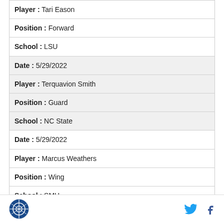| Player : Tari Eason |
| Position : Forward |
| School : LSU |
| Date : 5/29/2022 |
| Player : Terquavion Smith |
| Position : Guard |
| School : NC State |
| Date : 5/29/2022 |
| Player : Marcus Weathers |
| Position : Wing |
| School : SMU |
Logo | Twitter | Facebook